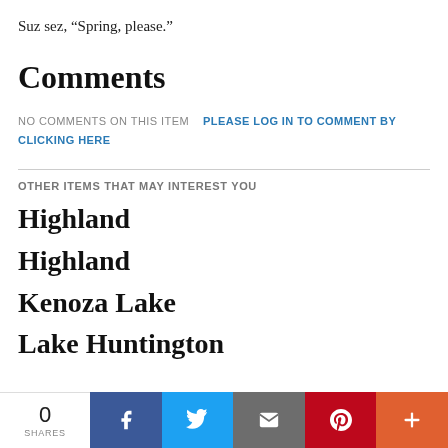Suz sez, “Spring, please.”
Comments
NO COMMENTS ON THIS ITEM   PLEASE LOG IN TO COMMENT BY CLICKING HERE
OTHER ITEMS THAT MAY INTEREST YOU
Highland
Highland
Kenoza Lake
Lake Huntington
0 SHARES | Facebook | Twitter | Email | Pinterest | More